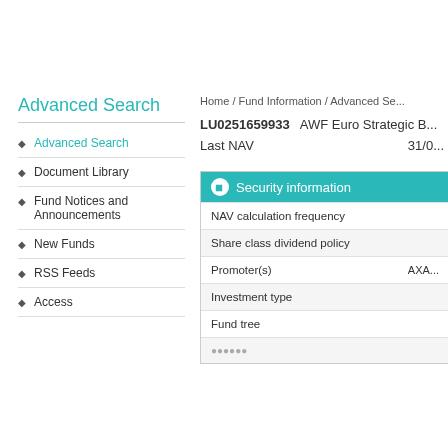Advanced Search
Advanced Search
Document Library
Fund Notices and Announcements
New Funds
RSS Feeds
Access
Home / Fund Information / Advanced Se...
LU0251659933   AWF Euro Strategic B...
Last NAV                              31/0...
| Security information |
| --- |
| NAV calculation frequency |
| Share class dividend policy |
| Promoter(s) | AXA... |
| Investment type |
| Fund tree |
| ... |